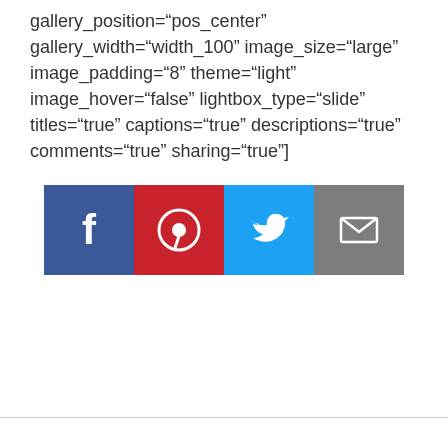gallery_position="pos_center" gallery_width="width_100" image_size="large" image_padding="8" theme="light" image_hover="false" lightbox_type="slide" titles="true" captions="true" descriptions="true" comments="true" sharing="true"]
[Figure (infographic): Four social media sharing icons: Facebook (blue), Pinterest (red), Twitter (light blue), Email (gray)]